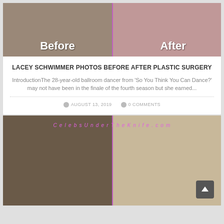[Figure (photo): Before and after comparison photo of Lacey Schwimmer with 'Before' label on left and 'After' label on right, separated by a vertical line]
LACEY SCHWIMMER PHOTOS BEFORE AFTER PLASTIC SURGERY
IntroductionThe 28-year-old ballroom dancer from 'So You Think You Can Dance?' may not have been in the finale of the fourth season but she earned...
AUGUST 13, 2019   0 COMMENTS
[Figure (photo): Before and after comparison photo (second article) with CelebsUnderTheKnife.com watermark, showing two side-by-side face photos]